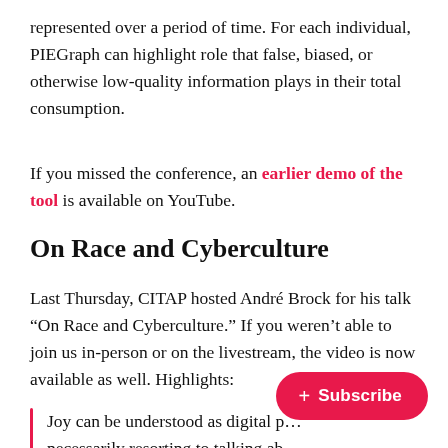represented over a period of time. For each individual, PIEGraph can highlight role that false, biased, or otherwise low-quality information plays in their total consumption.
If you missed the conference, an earlier demo of the tool is available on YouTube.
On Race and Cyberculture
Last Thursday, CITAP hosted André Brock for his talk “On Race and Cyberculture.” If you weren’t able to join us in-person or on the livestream, the video is now available as well. Highlights:
Joy can be understood as digital p[ractice without] necessarily resorting to talking ab[out race]